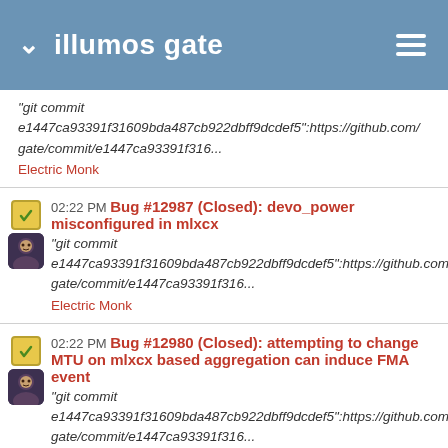illumos gate
"git commit e1447ca93391f31609bda487cb922dbff9dcdef5":https://github.com/gate/commit/e1447ca93391f316...
Electric Monk
02:22 PM Bug #12987 (Closed): devo_power misconfigured in mlxcx
"git commit e1447ca93391f31609bda487cb922dbff9dcdef5":https://github.com/gate/commit/e1447ca93391f316...
Electric Monk
02:22 PM Bug #12980 (Closed): attempting to change MTU on mlxcx based aggregation can induce FMA event
"git commit e1447ca93391f31609bda487cb922dbff9dcdef5":https://github.com/gate/commit/e1447ca93391f316...
Electric Monk